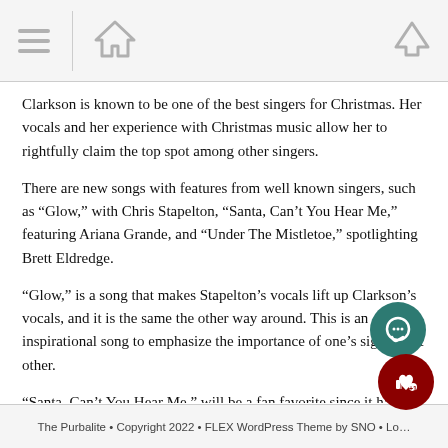[Navigation bar with menu, home, and up icons]
Clarkson is known to be one of the best singers for Christmas. Her vocals and her experience with Christmas music allow her to rightfully claim the top spot among other singers.
There are new songs with features from well known singers, such as “Glow,” with Chris Stapelton, “Santa, Can’t You Hear Me,” featuring Ariana Grande, and “Under The Mistletoe,” spotlighting Brett Eldredge.
“Glow,” is a song that makes Stapelton’s vocals lift up Clarkson’s vocals, and it is the same the other way around. This is an inspirational song to emphasize the importance of one’s significant other.
“Santa, Can’t You Hear Me,” will be a fan favorite since it has Grande’s amazing vocals. It is a catchy song that is upbeat.
Clarkson includes the cancel culture in her song “Christmas Isn’t Canceled (Just You),” which can be best for people who disagr…
The Purbalite • Copyright 2022 • FLEX WordPress Theme by SNO • Lo…